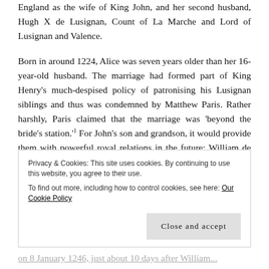England as the wife of King John, and her second husband, Hugh X de Lusignan, Count of La Marche and Lord of Lusignan and Valence.
Born in around 1224, Alice was seven years older than her 16-year-old husband. The marriage had formed part of King Henry's much-despised policy of patronising his Lusignan siblings and thus was condemned by Matthew Paris. Rather harshly, Paris claimed that the marriage was 'beyond the bride's station.'¹ For John's son and grandson, it would provide them with powerful royal relations in the future: William de Warenne was a first cousin of
Privacy & Cookies: This site uses cookies. By continuing to use this website, you agree to their use.
To find out more, including how to control cookies, see here: Our Cookie Policy
Close and accept
on 8 January 1246, just about 10 days after William...